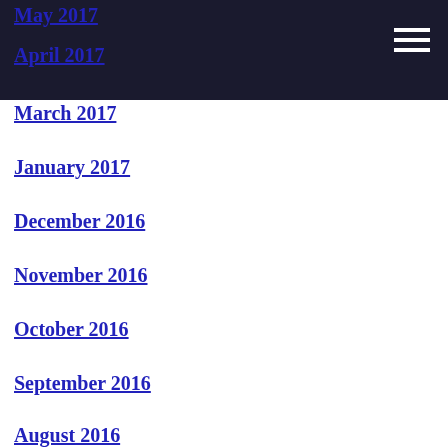May 2017
April 2017
March 2017
January 2017
December 2016
November 2016
October 2016
September 2016
August 2016
July 2016
June 2016
May 2016
April 2016
March 2016
February 2016
January 2016
December 2015
November 2015
October 2015